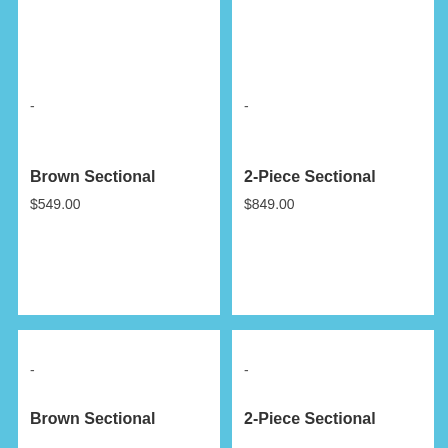-
-
Brown Sectional
$549.00
2-Piece Sectional
$849.00
-
-
Brown Sectional
2-Piece Sectional